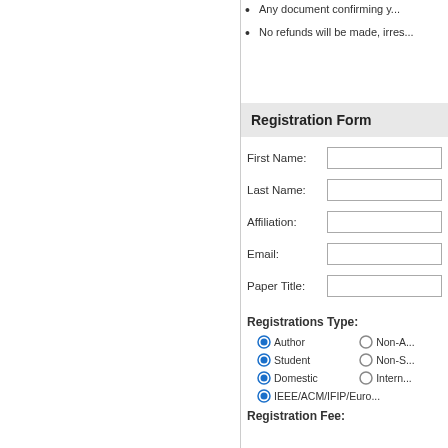Any document confirming y...
No refunds will be made, irres...
Registration Form
First Name:
Last Name:
Affiliation:
Email:
Paper Title:
Registrations Type:
Author
Non-A...
Student
Non-S...
Domestic
Intern...
IEEE/ACM/IFIP/Euro...
Registration Fee: